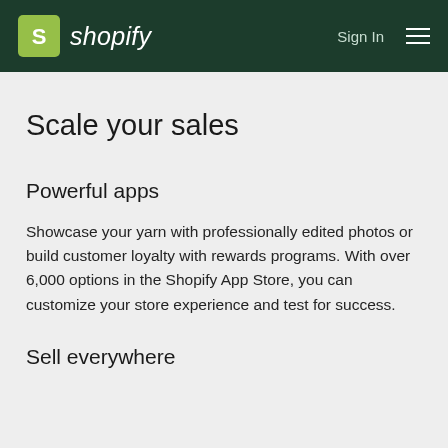shopify  Sign In
Scale your sales
Powerful apps
Showcase your yarn with professionally edited photos or build customer loyalty with rewards programs. With over 6,000 options in the Shopify App Store, you can customize your store experience and test for success.
Sell everywhere